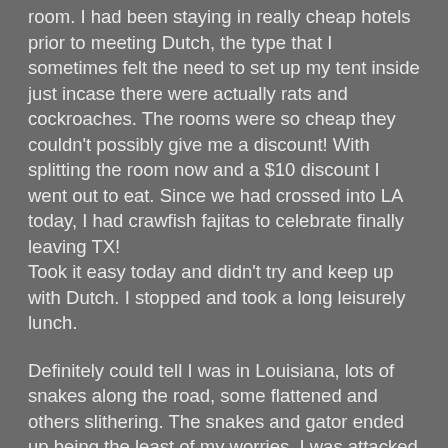room. I had been staying in really cheap hotels prior to meeting Dutch, the type that I sometimes felt the need to set up my tent inside just incase there were actually rats and cockroaches. The rooms were so cheap they couldn't possibly give me a discount! With splitting the room now and a $10 discount I went out to eat. Since we had crossed into LA today, I had crawfish fajitas to celebrate finally leaving TX! Took it easy today and didn't try and keep up with Dutch. I stopped and took a long leisurely lunch.
Definitely could tell I was in Louisiana, lots of snakes along the road, some flattened and others slithering. The snakes and gator ended up being the least of my worries, I was attacked by a tiny white yippee fluff ball. As I cycled along, a Maltese decided to continually nip at my heels. I ended up macing it on principle, finally it backed off.